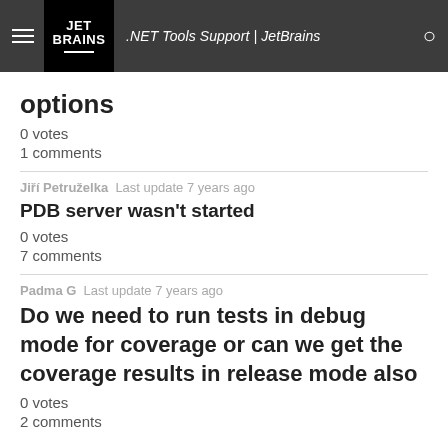.NET Tools Support | JetBrains
options
0 votes
1 comments
Jiří Petruželka  Last update 7 years ago
PDB server wasn't started
0 votes
7 comments
Padma G  Last update 7 years ago
Do we need to run tests in debug mode for coverage or can we get the coverage results in release mode also
0 votes
2 comments